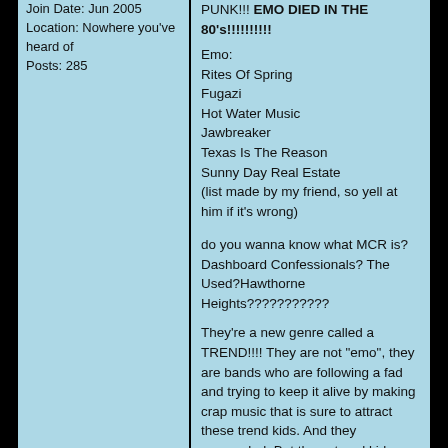Join Date: Jun 2005
Location: Nowhere you've heard of
Posts: 285
PUNK!!! EMO DIED IN THE 80's!!!!!!!!!!
Emo:
Rites Of Spring
Fugazi
Hot Water Music
Jawbreaker
Texas Is The Reason
Sunny Day Real Estate
(list made by my friend, so yell at him if it's wrong)
do you wanna know what MCR is? Dashboard Confessionals? The Used?Hawthorne Heights???????????
They're a new genre called a TREND!!!! They are not "emo", they are bands who are following a fad and trying to keep it alive by making crap music that is sure to attract these trend kids. And they succeeded. But these trend kids decided to take the genre Emo and erase the "ly Charged Hardcore Punk" so they